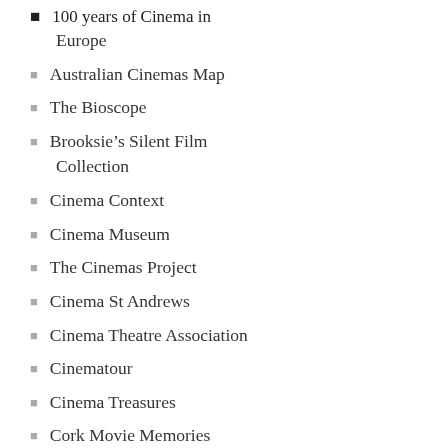100 years of Cinema in Europe
Australian Cinemas Map
The Bioscope
Brooksie's Silent Film Collection
Cinema Context
Cinema Museum
The Cinemas Project
Cinema St Andrews
Cinema Theatre Association
Cinematour
Cinema Treasures
Cork Movie Memories
Cultural Memory and British Cinema-Going of the 1960s
Curzon Memories App
Drive-ins.com